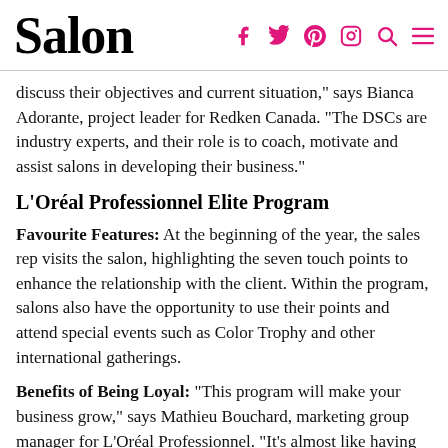Salon
discuss their objectives and current situation," says Bianca Adorante, project leader for Redken Canada. "The DSCs are industry experts, and their role is to coach, motivate and assist salons in developing their business."
L’Oréal Professionnel Elite Program
Favourite Features: At the beginning of the year, the sales rep visits the salon, highlighting the seven touch points to enhance the relationship with the client. Within the program, salons also have the opportunity to use their points and attend special events such as Color Trophy and other international gatherings.
Benefits of Being Loyal: “This program will make your business grow,” says Mathieu Bouchard, marketing group manager for L’Oréal Professionnel. “It’s almost like having your personalized consultant working with you.”